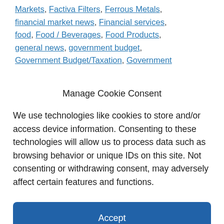Markets, Factiva Filters, Ferrous Metals, financial market news, Financial services, food, Food / Beverages, Food Products, general news, government budget, Government Budget/Taxation, Government
Manage Cookie Consent
We use technologies like cookies to store and/or access device information. Consenting to these technologies will allow us to process data such as browsing behavior or unique IDs on this site. Not consenting or withdrawing consent, may adversely affect certain features and functions.
Accept
Cookie Policy